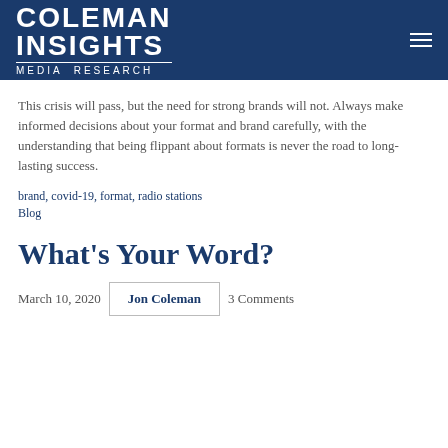COLEMAN INSIGHTS Media Research
This crisis will pass, but the need for strong brands will not. Always make informed decisions about your format and brand carefully, with the understanding that being flippant about formats is never the road to long-lasting success.
brand, covid-19, format, radio stations
Blog
What's Your Word?
March 10, 2020   Jon Coleman   3 Comments